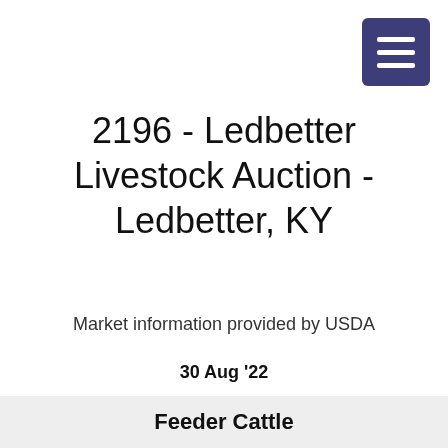[Figure (other): Hamburger menu button icon, dark navy/purple square with three white horizontal bars]
2196 - Ledbetter Livestock Auction - Ledbetter, KY
Market information provided by USDA
30 Aug '22
Compared to last week: Feeder cattle traded unevenly steady. Slaughter cows and bulls traded 2.00-5.00 higher.
Feeder Cattle